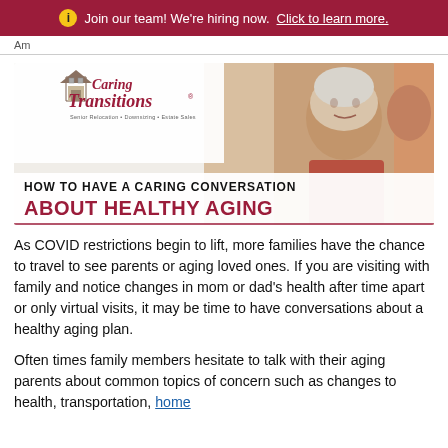Join our team! We're hiring now. Click to learn more.
Am
[Figure (illustration): Caring Transitions logo and banner image showing an elderly woman smiling, with overlay text: HOW TO HAVE A CARING CONVERSATION ABOUT HEALTHY AGING]
As COVID restrictions begin to lift, more families have the chance to travel to see parents or aging loved ones. If you are visiting with family and notice changes in mom or dad’s health after time apart or only virtual visits, it may be time to have conversations about a healthy aging plan.
Often times family members hesitate to talk with their aging parents about common topics of concern such as changes to health, transportation, home